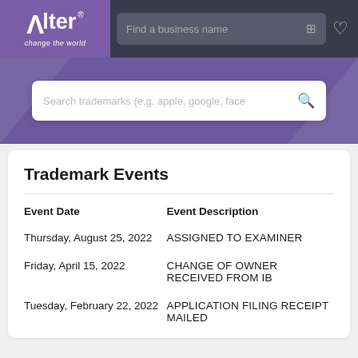[Figure (logo): Alter 'change the world' logo in purple box with navigation bar containing search field]
[Figure (screenshot): Purple hero banner with trademark search input box]
Trademark Events
| Event Date | Event Description |
| --- | --- |
| Thursday, August 25, 2022 | ASSIGNED TO EXAMINER |
| Friday, April 15, 2022 | CHANGE OF OWNER RECEIVED FROM IB |
| Tuesday, February 22, 2022 | APPLICATION FILING RECEIPT MAILED |